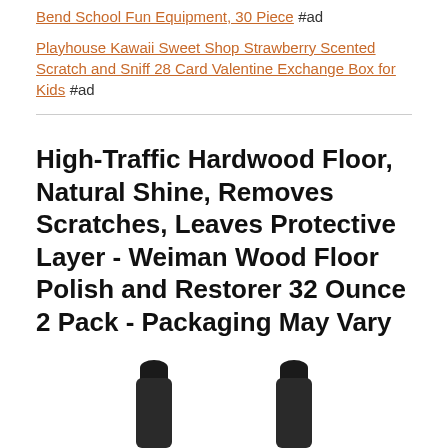Bend School Fun Equipment, 30 Piece #ad
Playhouse Kawaii Sweet Shop Strawberry Scented Scratch and Sniff 28 Card Valentine Exchange Box for Kids #ad
High-Traffic Hardwood Floor, Natural Shine, Removes Scratches, Leaves Protective Layer - Weiman Wood Floor Polish and Restorer 32 Ounce 2 Pack - Packaging May Vary
[Figure (photo): Two dark bottles of Weiman Wood Floor Polish and Restorer product, shown from above/side angle with black caps visible at bottom of frame]